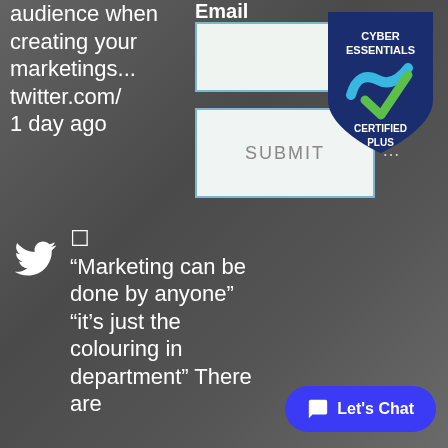audience when creating your marketings... twitter.com/… 1 day ago
Email
[Figure (screenshot): Email input text field, empty, with light blue border]
[Figure (screenshot): SUBMIT button, light gray background with blue border]
...
[Figure (logo): Cyber Essentials Certified Plus badge - dark blue shield shape with teal and green checkmark]
[Figure (logo): Twitter bird icon in white]
☐ “Marketing can be done by anyone” “it’s just the colouring in department” There are
[Figure (screenshot): Let's Chat chat button - blue rounded pill button with chat bubble icon]